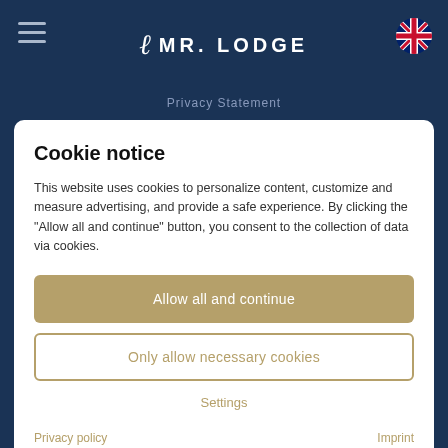[Figure (logo): Mr. Lodge logo with stylized L icon and text MR.LODGE in white on dark navy background]
Privacy Statement
Cookie notice
This website uses cookies to personalize content, customize and measure advertising, and provide a safe experience. By clicking the "Allow all and continue" button, you consent to the collection of data via cookies.
Allow all and continue
Only allow necessary cookies
Settings
Privacy policy
Imprint
[Figure (infographic): Social media icons row: Facebook, LinkedIn, Instagram, TikTok]